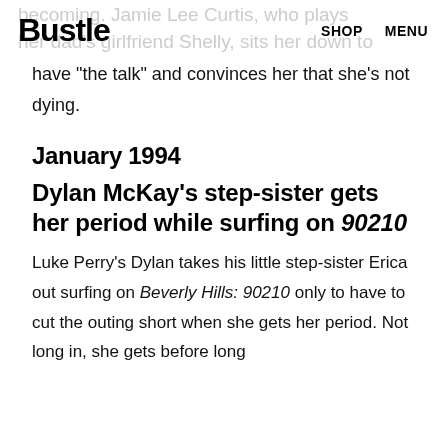Bustle  SHOP  MENU
have "the talk" and convinces her that she's not dying.
January 1994
Dylan McKay's step-sister gets her period while surfing on 90210
Luke Perry's Dylan takes his little step-sister Erica out surfing on Beverly Hills: 90210 only to have to cut the outing short when she gets her period. Not long in, she gets before long